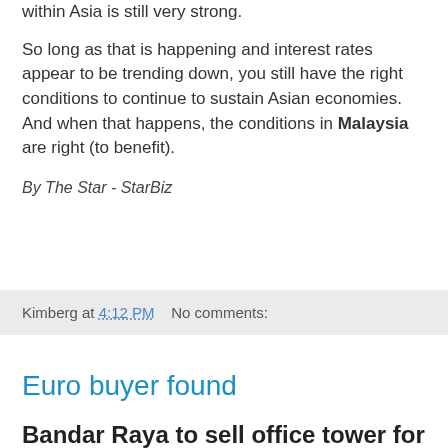within Asia is still very strong.
So long as that is happening and interest rates appear to be trending down, you still have the right conditions to continue to sustain Asian economies. And when that happens, the conditions in Malaysia are right (to benefit).
By The Star - StarBiz
Kimberg at 4:12 PM    No comments:
Euro buyer found
Bandar Raya to sell office tower for RM439mil
KUALA LUMPUR: Bandar Raya Development Bhd (BDRB) has found a European buyer for Office Tower 2 (OT2), which has been left uncompleted since 1997, for